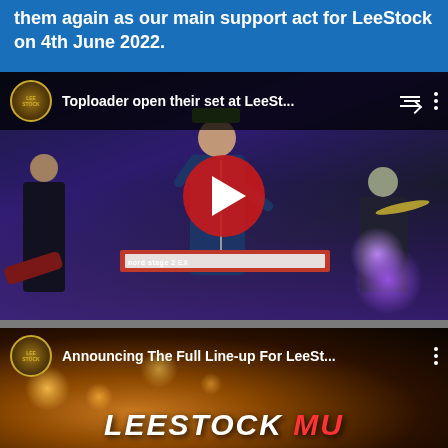them again as our main support act for LeeStock on 4th June 2022.
[Figure (screenshot): YouTube video thumbnail showing Toploader performing on stage at LeeStock festival. A singer in a blue jacket and green cap stands with arms raised at a microphone. Other band members visible including a guitarist and drummer. A Nord Stage 2 keyboard is visible in the foreground. A red YouTube play button overlay is centered on the image. The video title bar at the top reads 'Toploader open their set at LeeSt...' with the LeeStock channel logo.]
[Figure (screenshot): YouTube video thumbnail showing a second LeeStock video titled 'Announcing The Full Line-up For LeeSt...' with bokeh golden lights background and 'LEESTOCK MUSIC FESTIVAL' text partially visible at the bottom in white italic bold letters with red accent text below.]